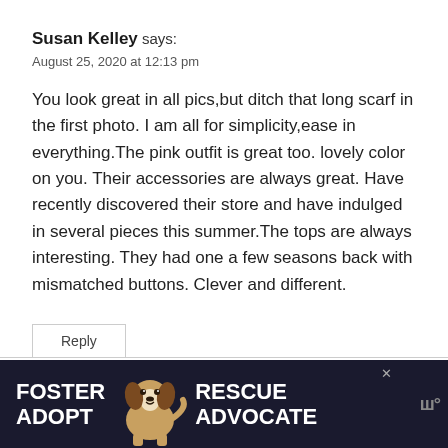Susan Kelley says:
August 25, 2020 at 12:13 pm
You look great in all pics,but ditch that long scarf in the first photo. I am all for simplicity,ease in everything.The pink outfit is great too. lovely color on you. Their accessories are always great. Have recently discovered their store and have indulged in several pieces this summer.The tops are always interesting. They had one a few seasons back with mismatched buttons. Clever and different.
Reply
[Figure (photo): Advertisement banner with dark background showing a beagle dog and text FOSTER ADOPT / RESCUE ADVOCATE in white bold letters, with a close button and logo on the right.]